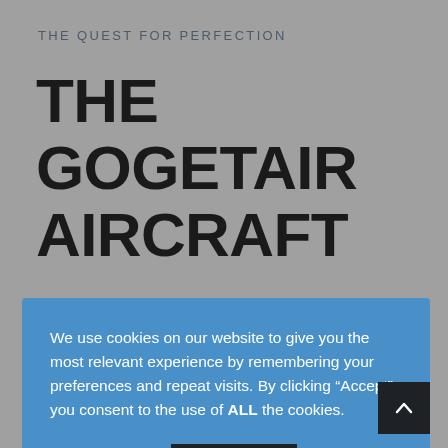THE QUEST FOR PERFECTION
THE GOGETAIR AIRCRAFT
We use cookies on our website to give you the most relevant experience by remembering your preferences and repeat visits. By clicking “Accept”, you consent to the use of ALL the cookies.
Cookie settings  ACCEPT
the structure.
The result of this quest for perfection is G750. Designed to be the ultimate safe, affordable, attractive, and top-performing sport-family aircraft with an option for 2+2 seating configuration and MTOW 750 kg in the Experimental category.